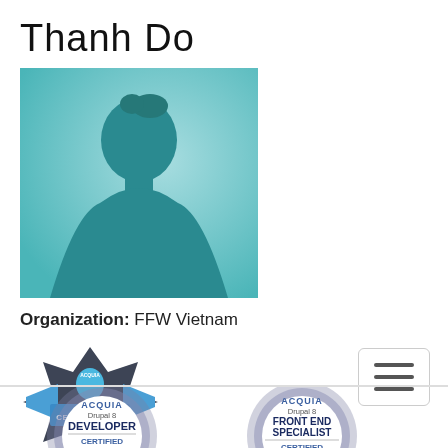Thanh Do
[Figure (photo): Generic silhouette profile photo placeholder on teal/cyan gradient background]
Organization: FFW Vietnam
[Figure (logo): Acquia Certification badge - star/ribbon shape with Acquia logo and 'CERTIFICATION' text on blue banner]
[Figure (logo): Hamburger menu button icon - three horizontal lines in a bordered box]
[Figure (logo): Acquia Drupal 8 Developer Certified badge (circular) with one star]
[Figure (logo): Acquia Drupal 8 Front End Specialist Certified badge (circular) with two stars]